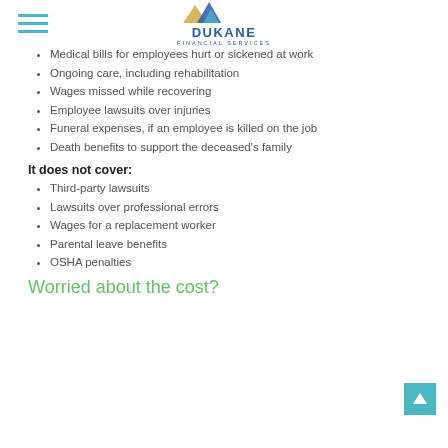Dukane Financial Services
Medical bills for employees hurt or sickened at work
Ongoing care, including rehabilitation
Wages missed while recovering
Employee lawsuits over injuries
Funeral expenses, if an employee is killed on the job
Death benefits to support the deceased's family
It does not cover:
Third-party lawsuits
Lawsuits over professional errors
Wages for a replacement worker
Parental leave benefits
OSHA penalties
Worried about the cost?